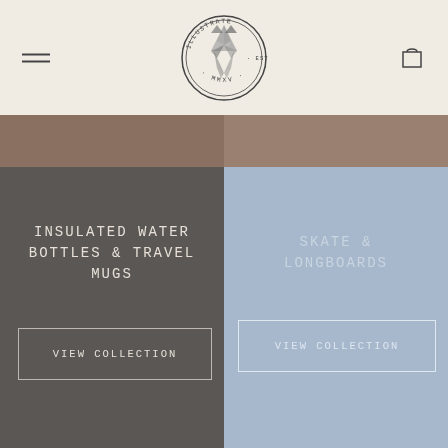[Figure (logo): Illustrate EST MMXV circular logo with geometric wolf/fox illustration]
INSULATED WATER BOTTLES & TRAVEL MUGS
VIEW COLLECTION
SKATE & LONGBOARDS
VIEW COLLECTION